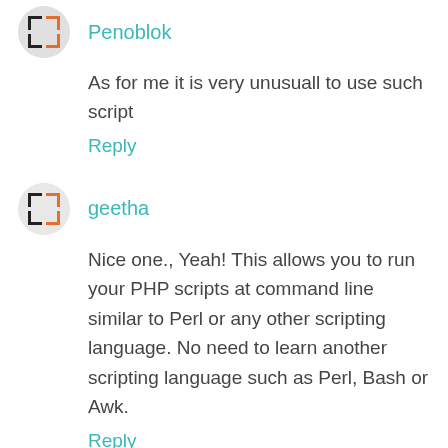[Figure (illustration): Avatar icon for user Penoblok — gray circle with a bracket/frame icon in black and orange]
Penoblok
As for me it is very unusuall to use such script
Reply
[Figure (illustration): Avatar icon for user geetha — gray circle with a bracket/frame icon in black and orange]
geetha
Nice one., Yeah! This allows you to run your PHP scripts at command line similar to Perl or any other scripting language. No need to learn another scripting language such as Perl, Bash or Awk.
Reply
[Figure (photo): Avatar photo of MrSato — a man with glasses]
MrSato